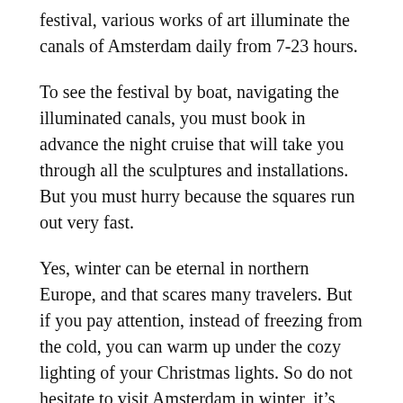festival, various works of art illuminate the canals of Amsterdam daily from 7-23 hours.
To see the festival by boat, navigating the illuminated canals, you must book in advance the night cruise that will take you through all the sculptures and installations. But you must hurry because the squares run out very fast.
Yes, winter can be eternal in northern Europe, and that scares many travelers. But if you pay attention, instead of freezing from the cold, you can warm up under the cozy lighting of your Christmas lights. So do not hesitate to visit Amsterdam in winter, it’s much more fun than you think.